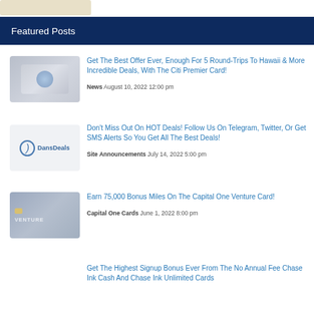[Figure (photo): Partial credit card image at top of page]
Featured Posts
[Figure (photo): Citi Premier credit card thumbnail]
Get The Best Offer Ever, Enough For 5 Round-Trips To Hawaii & More Incredible Deals, With The Citi Premier Card!
News   August 10, 2022 12:00 pm
[Figure (logo): DansDeals logo thumbnail]
Don't Miss Out On HOT Deals! Follow Us On Telegram, Twitter, Or Get SMS Alerts So You Get All The Best Deals!
Site Announcements   July 14, 2022 5:00 pm
[Figure (photo): Capital One Venture credit card thumbnail]
Earn 75,000 Bonus Miles On The Capital One Venture Card!
Capital One Cards   June 1, 2022 8:00 pm
Get The Highest Signup Bonus Ever From The No Annual Fee Chase Ink Cash And Chase Ink Unlimited Cards